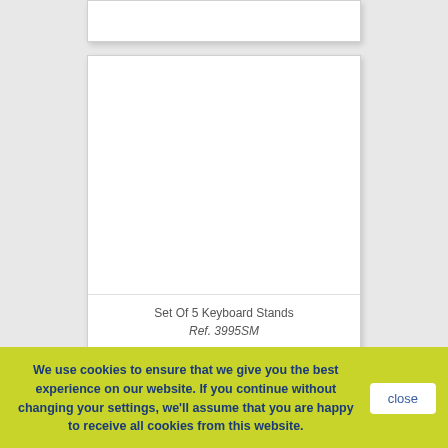[Figure (photo): Top portion of a white product card, partially visible at top of page, cropped.]
[Figure (photo): White product card with large empty white image area showing a set of 5 keyboard stands product listing.]
Set Of 5 Keyboard Stands
Ref. 3995SM
We use cookies to ensure that we give you the best experience on our website. If you continue without changing your settings, we'll assume that you are happy to receive all cookies from this website.